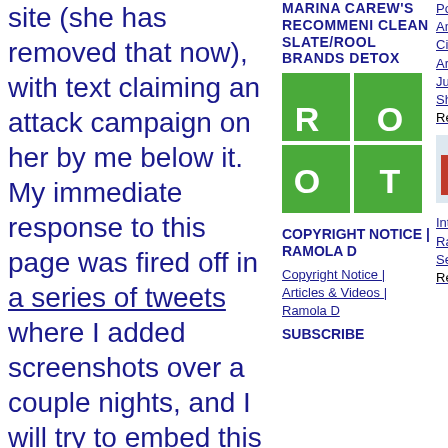site (she has removed that now), with text claiming an attack campaign on her by me below it. My immediate response to this page was fired off in a series of tweets where I added screenshots over a couple nights, and I will try to embed this below. Additionally, I published a Public Notice to Katherine, immediately protesting this public
MARINA CAREW'S RECOMMENDED CLEAN SLATE/ROOT BRANDS DETOX
[Figure (logo): ROOT brand logo — white letters R, O, O, T arranged in a 2x2 grid on a green background with white dividing lines]
COPYRIGHT NOTICE | RAMOLA D
Copyright Notice | Articles & Videos | Ramola D
SUBSCRIBE
Podcast 4: Birthright American or Captured US Citizen? Learn Who You Are — Land Vs Sea Jurisdictions & Pirate Ships | At all Ramola D Reports channels
[Figure (screenshot): Small thumbnail image showing a bar chart and document, appears to be a podcast or article thumbnail]
Interlude for Poetry -1 | Ramola D | from Invisible Season | At all Ramola D Reports